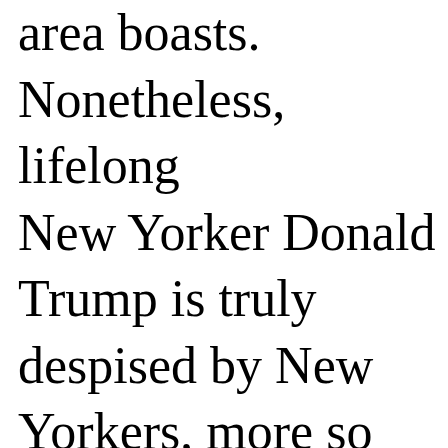area boasts. Nonetheless, lifelong New Yorker Donald Trump is truly despised by New Yorkers, more so